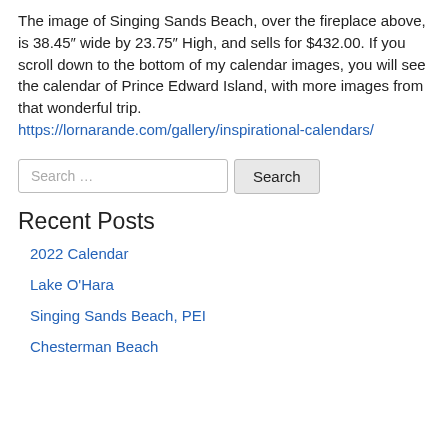The image of Singing Sands Beach, over the fireplace above, is 38.45" wide by 23.75" High, and sells for $432.00. If you scroll down to the bottom of my calendar images, you will see the calendar of Prince Edward Island, with more images from that wonderful trip. https://lornarande.com/gallery/inspirational-calendars/
Search ...
Recent Posts
2022 Calendar
Lake O'Hara
Singing Sands Beach, PEI
Chesterman Beach